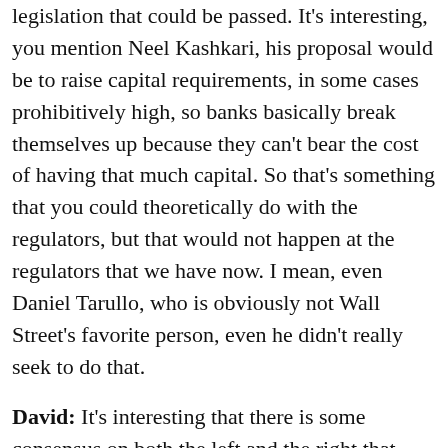legislation that could be passed. It's interesting, you mention Neel Kashkari, his proposal would be to raise capital requirements, in some cases prohibitively high, so banks basically break themselves up because they can't bear the cost of having that much capital. So that's something that you could theoretically do with the regulators, but that would not happen at the regulators that we have now. I mean, even Daniel Tarullo, who is obviously not Wall Street's favorite person, even he didn't really seek to do that.
David: It's interesting that there is some consensus on both the left and the right that banks do need to fund with more capital. Even Jeb Hensarling's Choice Act was incentivizing more capital funding, right? Then people on the left, progressive, also recognize this. It would be interesting to see at some point in the future if there is some way to come together to really put through legislation or regulation that would encourage more